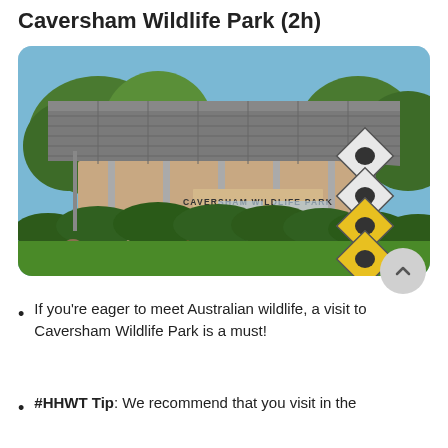Caversham Wildlife Park (2h)
[Figure (photo): Exterior photo of Caversham Wildlife Park building with a large canopy roof, hedges in the foreground, and diamond-shaped wildlife warning signs (koala, emu, wombat, kangaroo) on a pole at right.]
If you're eager to meet Australian wildlife, a visit to Caversham Wildlife Park is a must!
#HHWT Tip: We recommend that you visit in the